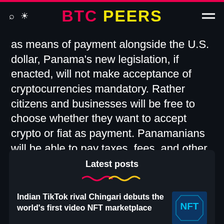BTC PEERS
as means of payment alongside the U.S. dollar, Panama's new legislation, if enacted, will not make acceptance of cryptocurrencies mandatory. Rather citizens and businesses will be free to choose whether they want to accept crypto or fiat as payment. Panamanians will be able to pay taxes, fees, and other tax obligations using cryptocurrency just like Salvadorians.
Latest posts
Indian TikTok rival Chingari debuts the world's first video NFT marketplace